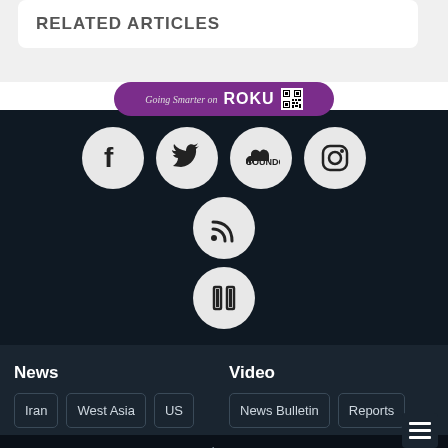RELATED ARTICLES
[Figure (infographic): Roku banner with QR code, purple rounded rectangle with 'Going Smarter on ROKU' text]
[Figure (infographic): Social media icon buttons in circles on dark background: Facebook, Twitter, SoundCloud, Instagram, RSS, and a book/library icon]
News
Iran
West Asia
US
UK
Asia-Pacific
Africa
Video
News Bulletin
Reports
Interviews
Infoclips
Shows